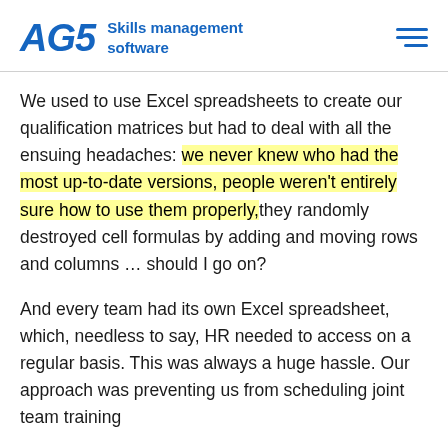AG5 Skills management software
We used to use Excel spreadsheets to create our qualification matrices but had to deal with all the ensuing headaches: we never knew who had the most up-to-date versions, people weren't entirely sure how to use them properly,they randomly destroyed cell formulas by adding and moving rows and columns … should I go on?
And every team had its own Excel spreadsheet, which, needless to say, HR needed to access on a regular basis. This was always a huge hassle. Our approach was preventing us from scheduling joint team training